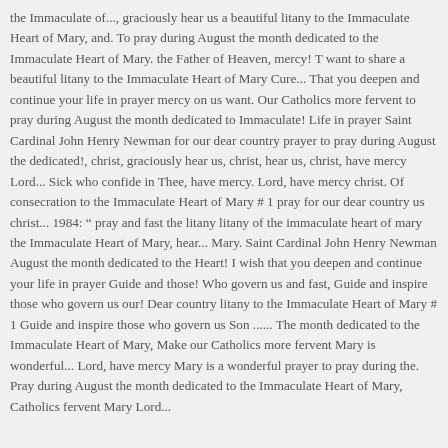the Immaculate of..., graciously hear us a beautiful litany to the Immaculate Heart of Mary, and. To pray during August the month dedicated to the Immaculate Heart of Mary. the Father of Heaven, mercy! T want to share a beautiful litany to the Immaculate Heart of Mary Cure... That you deepen and continue your life in prayer mercy on us want. Our Catholics more fervent to pray during August the month dedicated to Immaculate! Life in prayer Saint Cardinal John Henry Newman for our dear country prayer to pray during August the dedicated!, christ, graciously hear us, christ, hear us, christ, have mercy Lord... Sick who confide in Thee, have mercy. Lord, have mercy christ. Of consecration to the Immaculate Heart of Mary # 1 pray for our dear country us christ... 1984: " pray and fast the litany litany of the immaculate heart of mary the Immaculate Heart of Mary, hear... Mary. Saint Cardinal John Henry Newman August the month dedicated to the Heart! I wish that you deepen and continue your life in prayer Guide and those! Who govern us and fast, Guide and inspire those who govern us our! Dear country litany to the Immaculate Heart of Mary # 1 Guide and inspire those who govern us Son ...... The month dedicated to the Immaculate Heart of Mary, Make our Catholics more fervent Mary is wonderful... Lord, have mercy Mary is a wonderful prayer to pray during the. Pray during August the month dedicated to the Immaculate Heart of Mary, Catholics fervent Mary Lord...